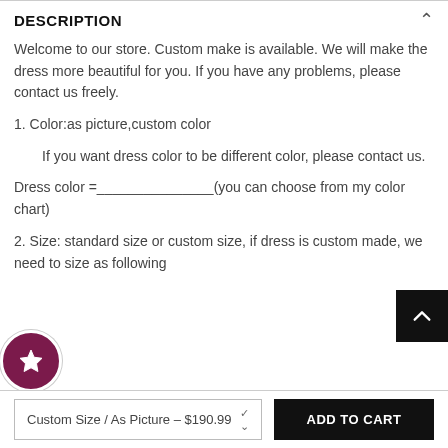DESCRIPTION
Welcome to our store. Custom make is available. We will make the dress more beautiful for you. If you have any problems, please contact us freely.
1. Color:as picture,custom color
If you want dress color to be different color, please contact us.
Dress color =_______________(you can choose from my color chart)
2. Size: standard size or custom size, if dress is custom made, we need to size as following
Custom Size / As Picture - $190.99
ADD TO CART